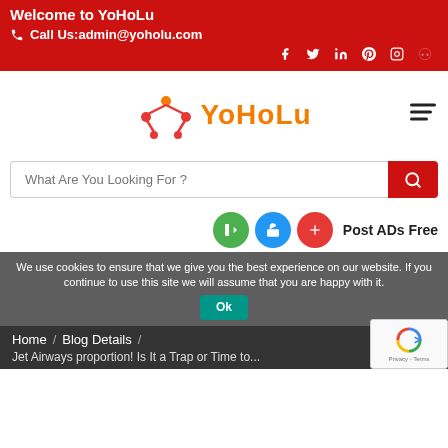Welcome to YoHoLu
Call Us:admin@yoholu.com
[Figure (screenshot): YoHoLu website screenshot showing logo, social icons, search bar, action buttons, cookie consent banner, breadcrumb navigation, and reCAPTCHA widget]
We use cookies to ensure that we give you the best experience on our website. If you continue to use this site we will assume that you are happy with it.
Home / Blog Details / Jet Airways proportion! Is It a Trap or Time to...